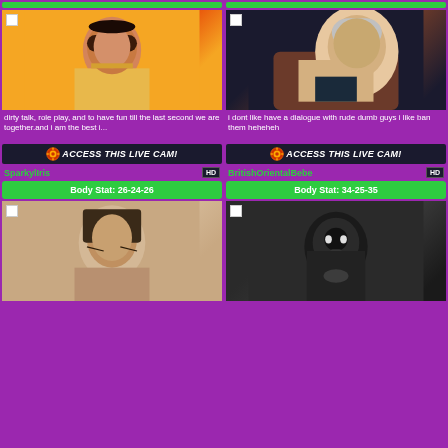[Figure (photo): Woman in yellow sari with jewelry]
dirty talk, role play, and to have fun till the last second we are together.and i am the best i...
[Figure (other): ACCESS THIS LIVE CAM! button with gear icon]
SparkylrisHD
Body Stat: 26-24-26
[Figure (photo): Blonde woman on leather couch]
i dont like have a dialogue with rude dumb guys i like ban them heheheh
[Figure (other): ACCESS THIS LIVE CAM! button with gear icon]
BritishOrientalBebeHD
Body Stat: 34-25-35
[Figure (photo): Asian woman close up portrait]
[Figure (photo): Person in black balaclava and hoodie]